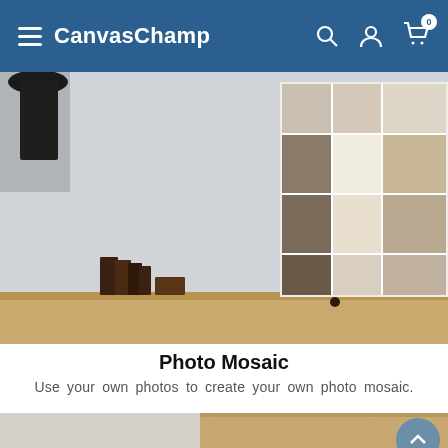CanvasChamp
[Figure (photo): Photo mosaic product image showing a woman holding a baby, displayed as a grid of canvas tiles on a wooden shelf with books and a lamp]
Photo Mosaic
Use your own photos to create your own photo mosaic.
[Figure (photo): Bottom portion of a wood engraving product with an animal engraved on light wood panel, displayed on a light grey background]